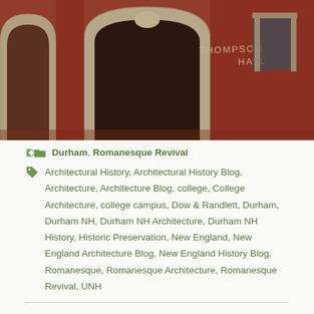[Figure (photo): Photograph of Thompson Hall, a red brick Romanesque Revival building with granite stone arches. The building name 'THOMPSON HALL' is visible in stone lettering. Large rounded stone arch doorway is prominent in the foreground.]
Durham, Romanesque Revival
Architectural History, Architectural History Blog, Architecture, Architecture Blog, college, College Architecture, college campus, Dow & Randlett, Durham, Durham NH, Durham NH Architecture, Durham NH History, Historic Preservation, New England, New England Architecture Blog, New England History Blog, Romanesque, Romanesque Architecture, Romanesque Revival, UNH